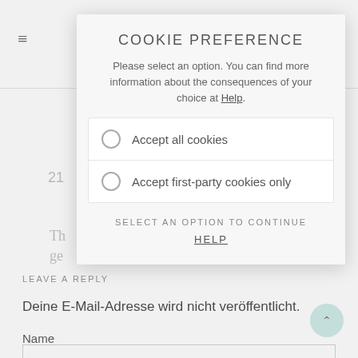≡   🔍
COOKIE PREFERENCE
Please select an option. You can find more information about the consequences of your choice at Help.
Accept all cookies
Accept first-party cookies only
SELECT AN OPTION TO CONTINUE
HELP
LEAVE A REPLY
Deine E-Mail-Adresse wird nicht veröffentlicht.
Name